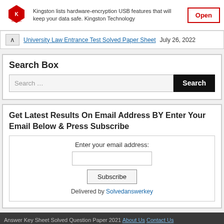[Figure (logo): Kingston Technology advertisement banner with Kingston logo, text about hardware-encryption USB features, and an Open button]
University Law Entrance Test Solved Paper Sheet July 26, 2022
Search Box
Search …
Search
Get Latest Results On Email Address BY Enter Your Email Below & Press Subscribe
Enter your email address:
Subscribe
Delivered by Solvedanswerkey
Answer Key Sheet Solved Question Paper 2021 About Us Contact Us Disclaimer Privacy Policy Terms & Conditions PDF Download | Sitemap Frontier Theme
[Figure (logo): NitroPack.io logo with Automated page speed optimizations for fast site performance text]